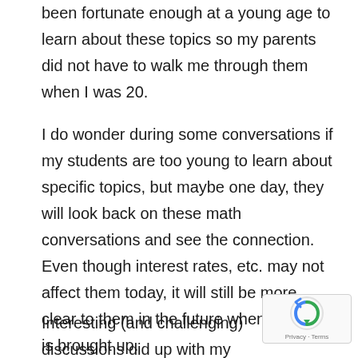been fortunate enough at a young age to learn about these topics so my parents did not have to walk me through them when I was 20.
I do wonder during some conversations if my students are too young to learn about specific topics, but maybe one day, they will look back on these math conversations and see the connection. Even though interest rates, etc. may not affect them today, it will still be more clear to them in the future when the topic is brought up.
Interesting (and challenging) discussions did up with my students,  related to interest rates